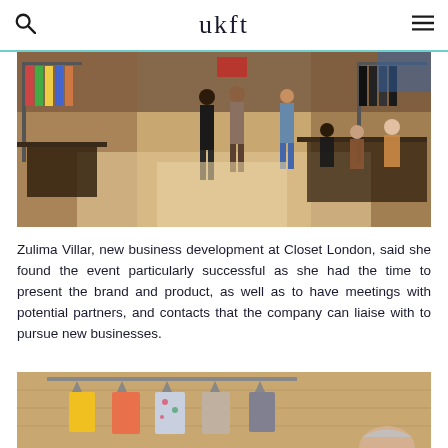ukft
[Figure (photo): Wide-angle view of a fashion trade event with people networking, clothing racks on both sides, and attendees meeting at tables in a conference-style venue.]
Zulima Villar, new business development at Closet London, said she found the event particularly successful as she had the time to present the brand and product, as well as to have meetings with potential partners, and contacts that the company can liaise with to pursue new businesses.
[Figure (photo): Clothing rack with colorful garments hanging on hangers — yellow, coral, floral prints, and grey — against a wooden background, with a person partially visible below.]